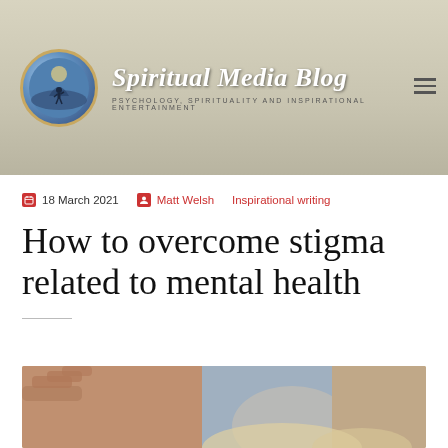[Figure (logo): Spiritual Media Blog logo with circular icon showing silhouette of person on hilltop against blue sky, with italic white text 'Spiritual Media Blog' and subtitle 'PSYCHOLOGY, SPIRITUALITY AND INSPIRATIONAL ENTERTAINMENT']
18 March 2021  Matt Welsh  Inspirational writing
How to overcome stigma related to mental health
[Figure (photo): Partial photo of a person at the bottom of the page, showing hands and blonde hair]